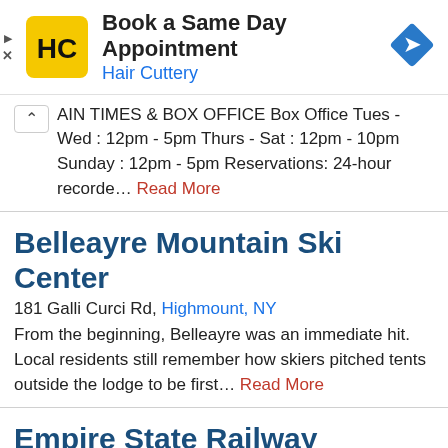[Figure (advertisement): Hair Cuttery ad banner with yellow HC logo, text 'Book a Same Day Appointment' and 'Hair Cuttery', blue diamond navigation icon on right, play and close icons on left edge]
AIN TIMES & BOX OFFICE Box Office Tues - Wed : 12pm - 5pm Thurs - Sat : 12pm - 10pm Sunday : 12pm - 5pm Reservations: 24-hour recorde… Read More
Belleayre Mountain Ski Center
181 Galli Curci Rd, Highmount, NY
From the beginning, Belleayre was an immediate hit. Local residents still remember how skiers pitched tents outside the lodge to be first… Read More
Empire State Railway Museum
70 Lower High St, Phoenicia, NY
History: From the late 1800s through the 1940s, the...